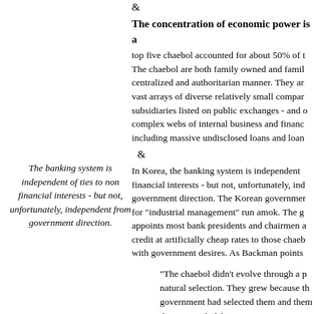&
The concentration of economic power is a
top five chaebol accounted for about 50% of t The chaebol are both family owned and famil centralized and authoritarian manner. They ar vast arrays of diverse relatively small compar subsidiaries listed on public exchanges - and o complex webs of internal business and financ including massive undisclosed loans and loan
&
The banking system is independent of ties to non financial interests - but not, unfortunately, independent from government direction.
In Korea, the banking system is independent financial interests - but not, unfortunately, ind government direction. The Korean governmer for "industrial management" run amok. The g appoints most bank presidents and chairmen a credit at artificially cheap rates to those chaeb with government desires. As Backman points
"The chaebol didn't evolve through a process of natural selection. They grew because the government had selected them and then propped them up with debt."
Each chaebol's few profitable subsidiaries of financial support for the rest of the group, thu house banks similar to those of other Asian co